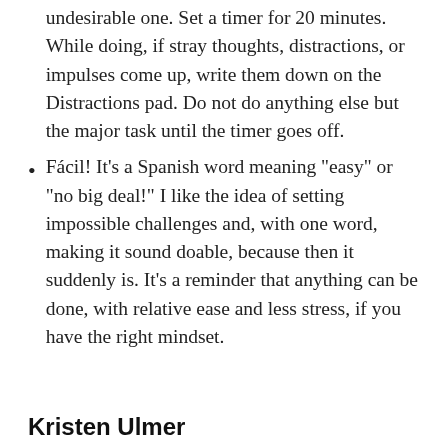undesirable one. Set a timer for 20 minutes. While doing, if stray thoughts, distractions, or impulses come up, write them down on the Distractions pad. Do not do anything else but the major task until the timer goes off.
Fácil! It’s a Spanish word meaning “easy” or “no big deal!” I like the idea of setting impossible challenges and, with one word, making it sound doable, because then it suddenly is. It’s a reminder that anything can be done, with relative ease and less stress, if you have the right mindset.
Kristen Ulmer
When not in crisis, I consider “my life is great” as